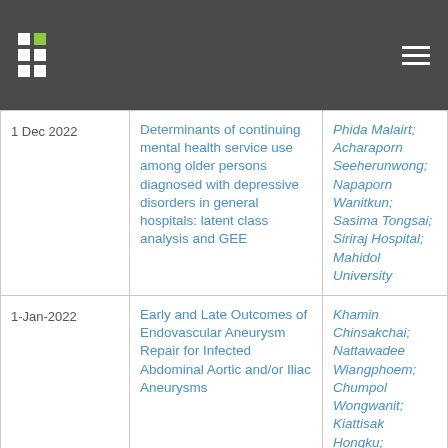| Date | Title | Authors |
| --- | --- | --- |
| 1 Dec 2022 | Determinants of continuing mental health service use among older persons diagnosed with depressive disorders in general hospitals: latent class analysis and GEE | Phida Malairt; Acharaporn Seeherunwong; Napaporn Wanitkun; Sasima Tongsai; Siriraj Hospital; Mahidol University |
| 1-Jan-2022 | Early and Late Outcomes of Endovascular Aneurysm Repair for Infected Abdominal Aortic and/or Iliac Aneurysms | Khamin Chinsakchai; Nattawadee Wiangphoem; Chumpol Wongwanit; Kiattisak Hongku; Frans L. Moll; Sasima Tongsai; Nattawut Puangpunngam; Suteekhanit Hahtapornsawan; Nuttawut Sarmeanthongsavndi... |